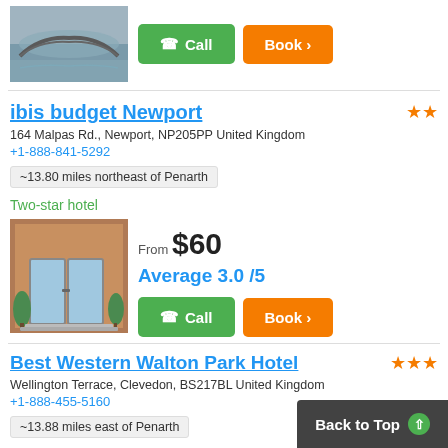[Figure (photo): Hotel exterior photo showing a stone bridge over water]
Call | Book >
ibis budget Newport
164 Malpas Rd., Newport, NP205PP United Kingdom
+1-888-841-5292
~13.80 miles northeast of Penarth
Two-star hotel
[Figure (photo): Hotel entrance with glass doors and small trees]
From $60
Average 3.0 /5
Call | Book >
Best Western Walton Park Hotel
Wellington Terrace, Clevedon, BS217BL United Kingdom
+1-888-455-5160
~13.88 miles east of Penarth
Back to Top